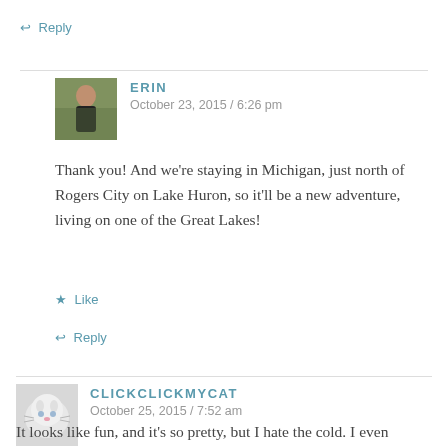↩ Reply
[Figure (photo): Avatar photo of Erin, a person outdoors in dark clothing against a green background]
ERIN
October 23, 2015 / 6:26 pm
Thank you! And we're staying in Michigan, just north of Rogers City on Lake Huron, so it'll be a new adventure, living on one of the Great Lakes!
★ Like
↩ Reply
[Figure (photo): Avatar photo of ClickClickMyCat, a white fluffy cat]
CLICKCLICKMYCAT
October 25, 2015 / 7:52 am
It looks like fun, and it's so pretty, but I hate the cold. I even